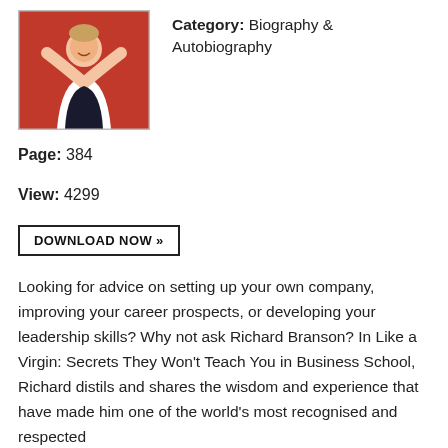[Figure (photo): Book cover photo showing a person (Richard Branson) celebrating with arms raised, wearing a white shirt, against a red background]
Category: Biography & Autobiography
Page: 384
View: 4299
DOWNLOAD NOW »
Looking for advice on setting up your own company, improving your career prospects, or developing your leadership skills? Why not ask Richard Branson? In Like a Virgin: Secrets They Won't Teach You in Business School, Richard distils and shares the wisdom and experience that have made him one of the world's most recognised and respected